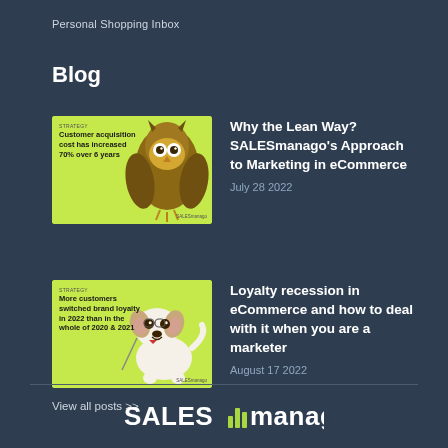Personal Shopping Inbox
Blog
[Figure (illustration): Blog post thumbnail with lime-green background, owl image, and text: Customer acquisition cost has increased 70% over 6 years]
Why the Lean Way? SALESmanago's Approach to Marketing in eCommerce
July 28 2022
[Figure (illustration): Blog post thumbnail with lime-green background, dog image, and text: More customers switched brand loyalty in 2022 than in the whole of 2020 & 2021]
Loyalty recession in eCommerce and how to deal with it when you are a marketer
August 17 2022
View all posts >>
[Figure (logo): SALESmanago logo with bar chart icon between SALES and manago]